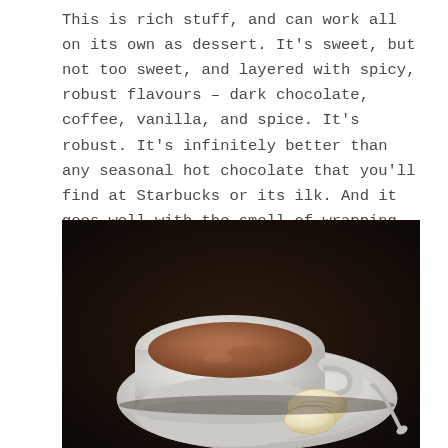This is rich stuff, and can work all on its own as dessert. It's sweet, but not too sweet, and layered with spicy, robust flavours – dark chocolate, coffee, vanilla, and spice. It's robust. It's infinitely better than any seasonal hot chocolate that you'll find at Starbucks or its ilk. And it goes well with the smell of wrapping paper, cookies, and tree.
[Figure (photo): A mug of hot chocolate on a white saucer with shortbread cookies, photographed on a dark background from above and to the side.]